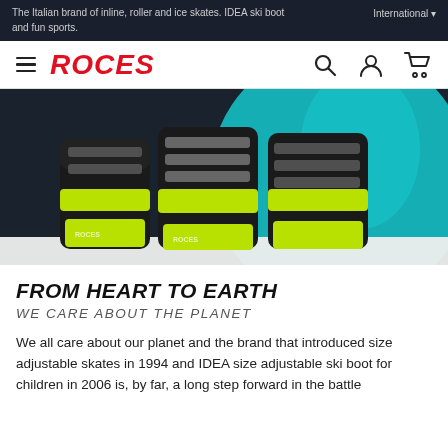The Italian brand of inline, roller and ice skates. IDEA ski boot and fun sports.
International
[Figure (logo): ROCES brand logo in red italic bold text with hamburger menu icon]
[Figure (photo): Three black and neon yellow Roces ski boots displayed against a dark background with a teal globe/earth graphic]
FROM HEART TO EARTH
WE CARE ABOUT THE PLANET
We all care about our planet and the brand that introduced size adjustable skates in 1994 and IDEA size adjustable ski boot for children in 2006 is, by far, a long step forward in the battle